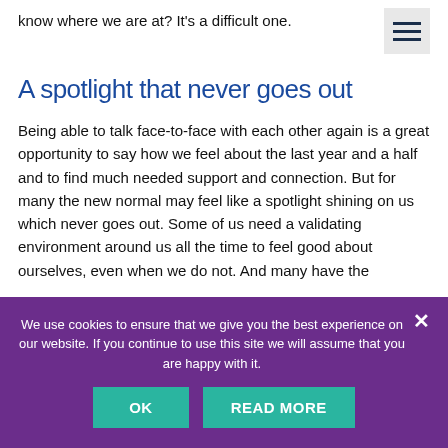know where we are at? It's a difficult one.
A spotlight that never goes out
Being able to talk face-to-face with each other again is a great opportunity to say how we feel about the last year and a half and to find much needed support and connection. But for many the new normal may feel like a spotlight shining on us which never goes out. Some of us need a validating environment around us all the time to feel good about ourselves, even when we do not. And many have the
We use cookies to ensure that we give you the best experience on our website. If you continue to use this site we will assume that you are happy with it.